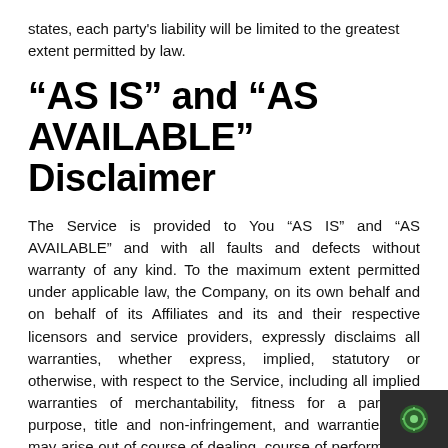states, each party's liability will be limited to the greatest extent permitted by law.
“AS IS” and “AS AVAILABLE” Disclaimer
The Service is provided to You “AS IS” and “AS AVAILABLE” and with all faults and defects without warranty of any kind. To the maximum extent permitted under applicable law, the Company, on its own behalf and on behalf of its Affiliates and its and their respective licensors and service providers, expressly disclaims all warranties, whether express, implied, statutory or otherwise, with respect to the Service, including all implied warranties of merchantability, fitness for a particular purpose, title and non-infringement, and warranties that may arise out of course of dealing, course of performance, usage or trade practice. Without limitation to the foregoing, the Company provides no warranty or undertaking, and makes no representation of any kind that the Service will meet